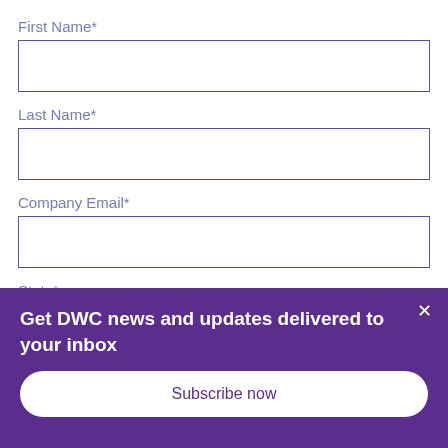First Name*
Last Name*
Company Email*
State*
Get DWC news and updates delivered to your inbox
Subscribe now